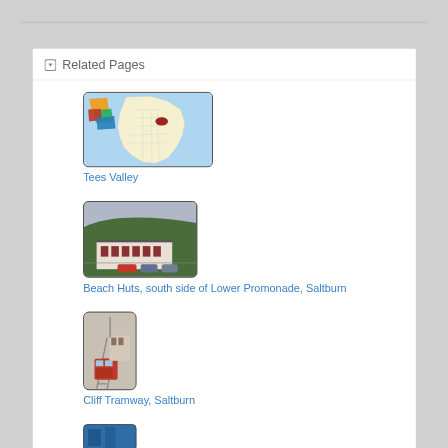Related Pages
[Figure (map): Map of England highlighting Tees Valley region in dark red, with colorful overlaid polygons in the top-left corner (orange, green, red, blue)]
Tees Valley
[Figure (photo): Beach huts on the south side of Lower Promenade, Saltburn - white buildings with red accents on a hillside]
Beach Huts, south side of Lower Promonade, Saltburn
[Figure (photo): Cliff Tramway at Saltburn - red tram car on tracks going up a hillside]
Cliff Tramway, Saltburn
[Figure (photo): Partially visible blue image at bottom of page]